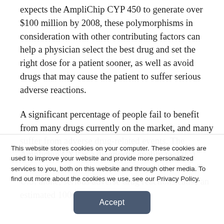expects the AmpliChip CYP 450 to generate over $100 million by 2008, these polymorphisms in consideration with other contributing factors can help a physician select the best drug and set the right dose for a patient sooner, as well as avoid drugs that may cause the patient to suffer serious adverse reactions.
A significant percentage of people fail to benefit from many drugs currently on the market, and many suffer from adverse drug-related events. The Amplichip CYP is a diagnostic quality tool that offers the potential to address the problems. In the U.S. alone, serious adverse drug reactions cause an estimated 100,000
This website stores cookies on your computer. These cookies are used to improve your website and provide more personalized services to you, both on this website and through other media. To find out more about the cookies we use, see our Privacy Policy.
Accept